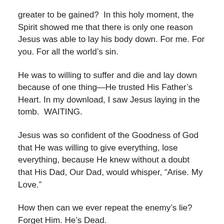greater to be gained?  In this holy moment, the Spirit showed me that there is only one reason Jesus was able to lay his body down. For me. For you. For all the world's sin.
He was to willing to suffer and die and lay down because of one thing—He trusted His Father's Heart. In my download, I saw Jesus laying in the tomb.  WAITING.
Jesus was so confident of the Goodness of God that He was willing to give everything, lose everything, because He knew without a doubt that His Dad, Our Dad, would whisper, “Arise. My Love.”
How then can we ever repeat the enemy’s lie? Forget Him. He’s Dead.